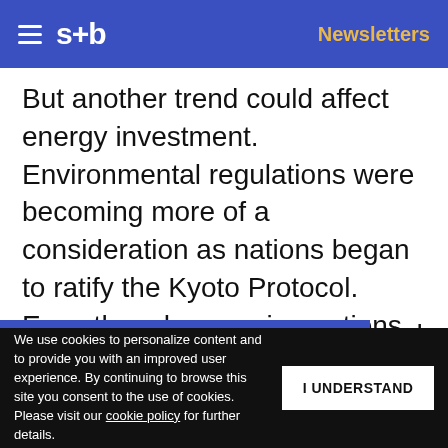s+b  Newsletters
But another trend could affect energy investment. Environmental regulations were becoming more of a consideration as nations began to ratify the Kyoto Protocol. Even though emerging nations are excluded from Kyoto's emissions limits, many have stated the desire to maintain clean air for their citizens, and reduce volatile oil and gas prices.
Get s+b's award-winning newsletter delivered to your inbox.
We use cookies to personalize content and to provide you with an improved user experience. By continuing to browse this site you consent to the use of cookies. Please visit our cookie policy for further details.